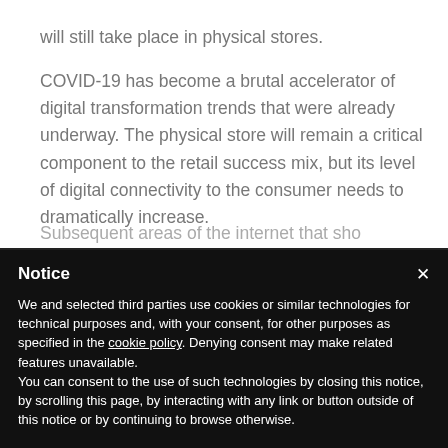will still take place in physical stores.

COVID-19 has become a brutal accelerator of digital transformation trends that were already underway. The physical store will remain a critical component to the retail success mix, but its level of digital connectivity to the consumer needs to dramatically increase.
Notice

We and selected third parties use cookies or similar technologies for technical purposes and, with your consent, for other purposes as specified in the cookie policy. Denying consent may make related features unavailable.
You can consent to the use of such technologies by closing this notice, by scrolling this page, by interacting with any link or button outside of this notice or by continuing to browse otherwise.